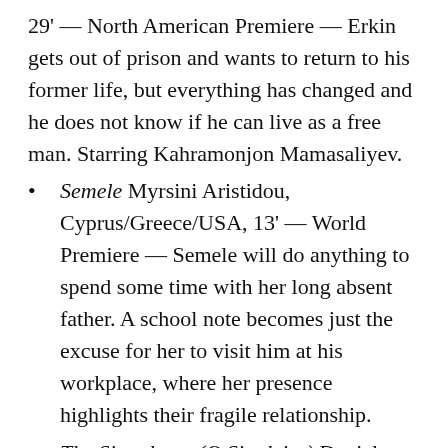29' — North American Premiere — Erkin gets out of prison and wants to return to his former life, but everything has changed and he does not know if he can live as a free man. Starring Kahramonjon Mamasaliyev.
Semele Myrsini Aristidou, Cyprus/Greece/USA, 13' — World Premiere — Semele will do anything to spend some time with her long absent father. A school note becomes just the excuse for her to visit him at his workplace, where her presence highlights their fragile relationship.
The Signalman (O Sinaleiro) Daniel Augusto, Brazil, 15' — World Premiere — A railroad